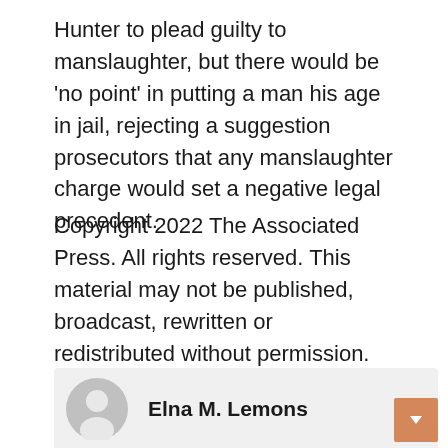Hunter to plead guilty to manslaughter, but there would be 'no point' in putting a man his age in jail, rejecting a suggestion prosecutors that any manslaughter charge would set a negative legal precedent.
Copyright 2022 The Associated Press. All rights reserved. This material may not be published, broadcast, rewritten or redistributed without permission.
Elna M. Lemons